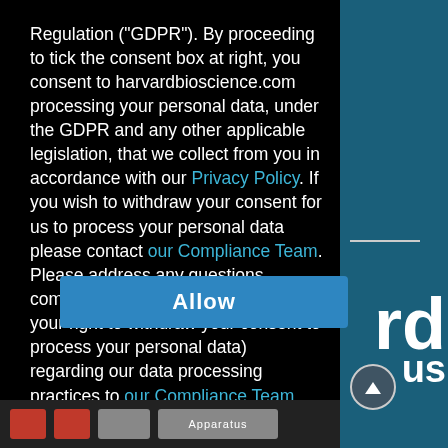Regulation ("GDPR"). By proceeding to tick the consent box at right, you consent to harvardbioscience.com processing your personal data, under the GDPR and any other applicable legislation, that we collect from you in accordance with our Privacy Policy. If you wish to withdraw your consent for us to process your personal data please contact our Compliance Team. Please address any questions, comments and requests (including your right to withdraw your consent to process your personal data) regarding our data processing practices to our Compliance Team.
[Figure (screenshot): Allow button - blue rectangular button with white bold text 'Allow']